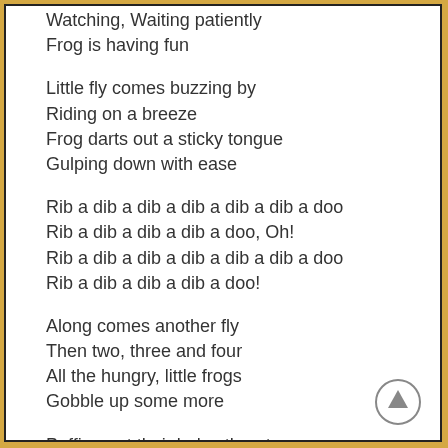Watching, Waiting patiently
Frog is having fun
Little fly comes buzzing by
Riding on a breeze
Frog darts out a sticky tongue
Gulping down with ease
Rib a dib a dib a dib a dib a dib a doo
Rib a dib a dib a dib a doo, Oh!
Rib a dib a dib a dib a dib a dib a doo
Rib a dib a dib a dib a doo!
Along comes another fly
Then two, three and four
All the hungry, little frogs
Gobble up some more
Puffing out their bulgy throats
Croaking harmony